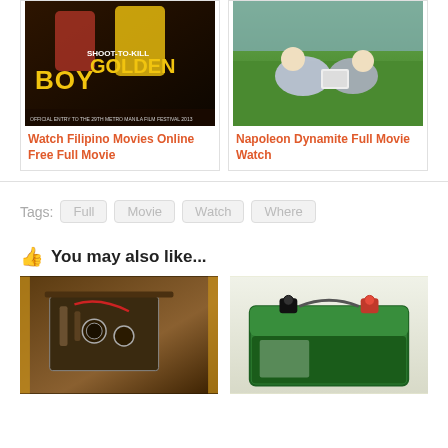[Figure (photo): Movie poster for Boy Golden: Shoot to Kill, a Filipino film]
Watch Filipino Movies Online Free Full Movie
[Figure (photo): Movie poster for Napoleon Dynamite Full Movie Watch]
Napoleon Dynamite Full Movie Watch
Tags: Full  Movie  Watch  Where
👍 You may also like...
[Figure (photo): Interior mechanical/boiler room photo]
[Figure (photo): Interstate battery product photo]